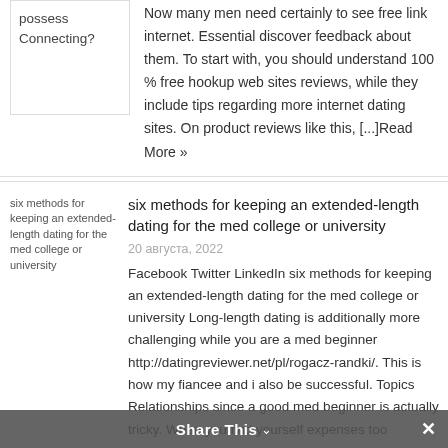possess Connecting?
Now many men need certainly to see free link internet. Essential discover feedback about them. To start with, you should understand 100 % free hookup web sites reviews, while they include tips regarding more internet dating sites. On product reviews like this, [...]Read More »
[Figure (photo): Broken image placeholder for 'six methods for keeping an extended-length dating for the med college or university']
six methods for keeping an extended-length dating for the med college or university
20 августа, 2022
Facebook Twitter LinkedIn six methods for keeping an extended-length dating for the med college or university Long-length dating is additionally more challenging while you are a med beginner http://datingreviewer.net/pl/rogacz-randki/. This is how my fiancee and i also be successful. Topics Relationships since a good med beginner is actually tricky. When you find yourself expenses too
Share This